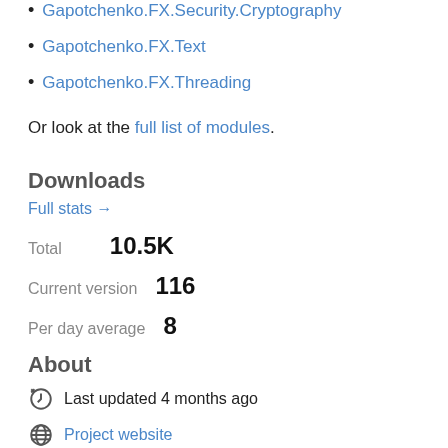Gapotchenko.FX.Security.Cryptography
Gapotchenko.FX.Text
Gapotchenko.FX.Threading
Or look at the full list of modules.
Downloads
Full stats →
Total   10.5K
Current version   116
Per day average   8
About
Last updated 4 months ago
Project website
Source repository